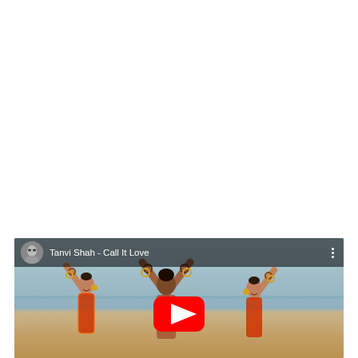[Figure (screenshot): YouTube video thumbnail for 'Tanvi Shah - Call It Love' showing three dancers in traditional Indian attire with arms raised, on a beach. A YouTube play button is visible in the center-bottom of the thumbnail. The video player header shows a circular channel avatar (grayscale portrait), the video title 'Tanvi Shah - Call It Love', and a three-dot menu icon on the right.]